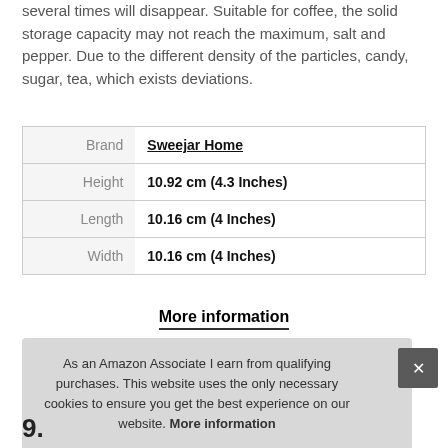several times will disappear. Suitable for coffee, the solid storage capacity may not reach the maximum, salt and pepper. Due to the different density of the particles, candy, sugar, tea, which exists deviations.
| Brand | Sweejar Home |
| Height | 10.92 cm (4.3 Inches) |
| Length | 10.16 cm (4 Inches) |
| Width | 10.16 cm (4 Inches) |
More information
As an Amazon Associate I earn from qualifying purchases. This website uses the only necessary cookies to ensure you get the best experience on our website. More information
9.